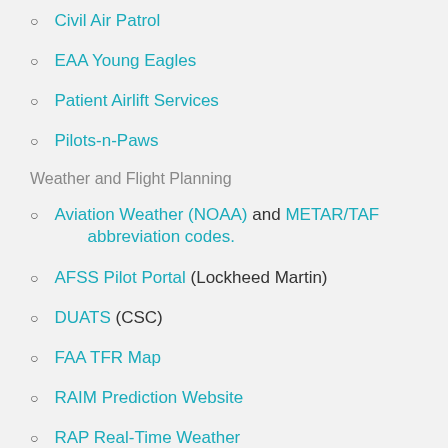Civil Air Patrol
EAA Young Eagles
Patient Airlift Services
Pilots-n-Paws
Weather and Flight Planning
Aviation Weather (NOAA) and METAR/TAF abbreviation codes.
AFSS Pilot Portal (Lockheed Martin)
DUATS (CSC)
FAA TFR Map
RAIM Prediction Website
RAP Real-Time Weather
AOPA Flight Planner
AirNav: Airport information